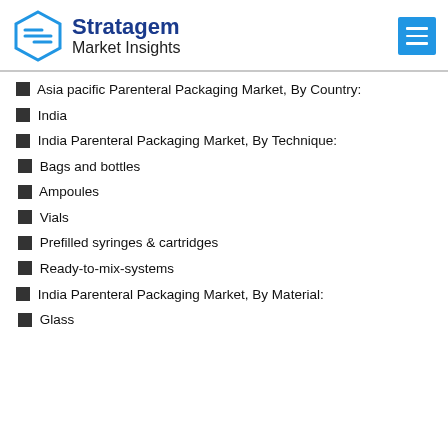Stratagem Market Insights
Asia pacific Parenteral Packaging Market, By Country:
India
India Parenteral Packaging Market, By Technique:
Bags and bottles
Ampoules
Vials
Prefilled syringes & cartridges
Ready-to-mix-systems
India Parenteral Packaging Market, By Material:
Glass